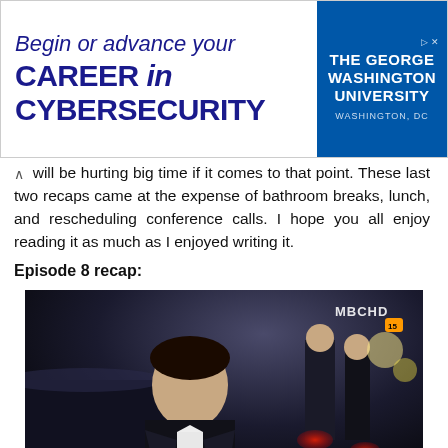[Figure (other): Advertisement banner for The George Washington University cybersecurity program. Left side shows italic blue text 'Begin or advance your' and bold blue text 'CAREER in CYBERSECURITY'. Right side has dark blue background with 'THE GEORGE WASHINGTON UNIVERSITY' and 'WASHINGTON, DC'.]
will be hurting big time if it comes to that point. These last two recaps came at the expense of bathroom breaks, lunch, and rescheduling conference calls. I hope you all enjoy reading it as much as I enjoyed writing it.
Episode 8 recap:
[Figure (photo): Night scene showing a young Asian man in a formal tuxedo with white bow tie looking to the side. Background shows luxury cars with red tail lights and other formally dressed people. MBCHD watermark in top right corner.]
[Figure (photo): Night scene showing people in formal attire outdoors with a building in the background. MBCHD watermark in top right corner.]